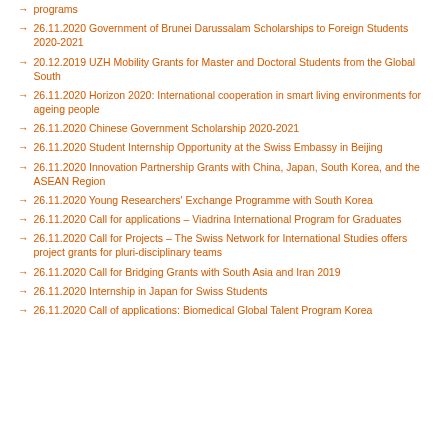programs
26.11.2020 Government of Brunei Darussalam Scholarships to Foreign Students 2020-2021
20.12.2019 UZH Mobility Grants for Master and Doctoral Students from the Global South
26.11.2020 Horizon 2020: International cooperation in smart living environments for ageing people
26.11.2020 Chinese Government Scholarship 2020-2021
26.11.2020 Student Internship Opportunity at the Swiss Embassy in Beijing
26.11.2020 Innovation Partnership Grants with China, Japan, South Korea, and the ASEAN Region
26.11.2020 Young Researchers' Exchange Programme with South Korea
26.11.2020 Call for applications – Viadrina International Program for Graduates
26.11.2020 Call for Projects – The Swiss Network for International Studies offers project grants for pluri-disciplinary teams
26.11.2020 Call for Bridging Grants with South Asia and Iran 2019
26.11.2020 Internship in Japan for Swiss Students
26.11.2020 Call of applications: Biomedical Global Talent Program Korea